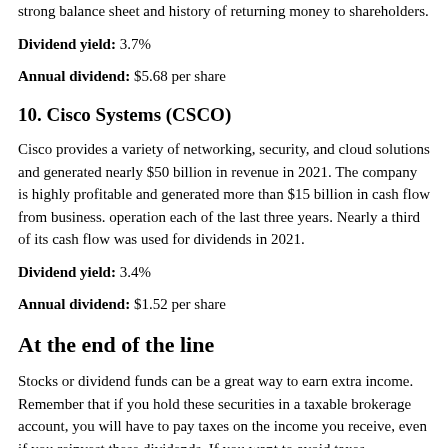strong balance sheet and history of returning money to shareholders.
Dividend yield: 3.7%
Annual dividend: $5.68 per share
10. Cisco Systems (CSCO)
Cisco provides a variety of networking, security, and cloud solutions and generated nearly $50 billion in revenue in 2021. The company is highly profitable and generated more than $15 billion in cash flow from business. operation each of the last three years. Nearly a third of its cash flow was used for dividends in 2021.
Dividend yield: 3.4%
Annual dividend: $1.52 per share
At the end of the line
Stocks or dividend funds can be a great way to earn extra income. Remember that if you hold these securities in a taxable brokerage account, you will have to pay taxes on the income you receive, even if you reinvest these dividends. If you want to avoid taxes,